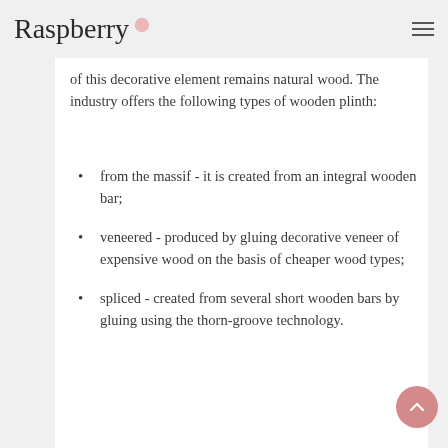Raspberry
of this decorative element remains natural wood. The industry offers the following types of wooden plinth:
from the massif - it is created from an integral wooden bar;
veneered - produced by gluing decorative veneer of expensive wood on the basis of cheaper wood types;
spliced - created from several short wooden bars by gluing using the thorn-groove technology.